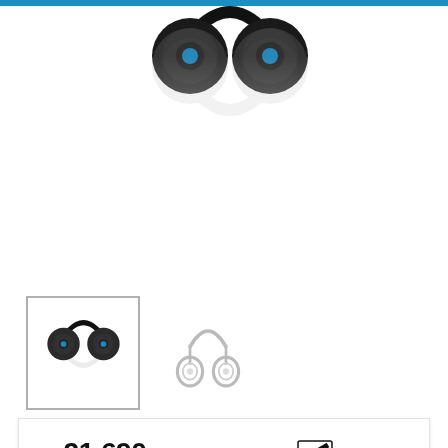[Figure (photo): Sennheiser headphones product image shown from top angle, dark black, with reflection effect fading to white below]
[Figure (photo): Small thumbnail of black Sennheiser headphones (selected, with border)]
[Figure (photo): Small thumbnail of grey/white Sennheiser headphones outline style]
Rs21,690
In stock
ADD TO CART